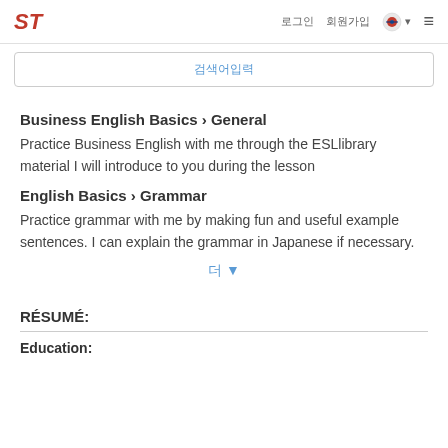ST  로그인  회원가입  🇰🇷 ▼  ≡
검색어입력
Business English Basics › General
Practice Business English with me through the ESLlibrary material I will introduce to you during the lesson
English Basics › Grammar
Practice grammar with me by making fun and useful example sentences. I can explain the grammar in Japanese if necessary.
더 ▾
RÉSUMÉ:
Education: